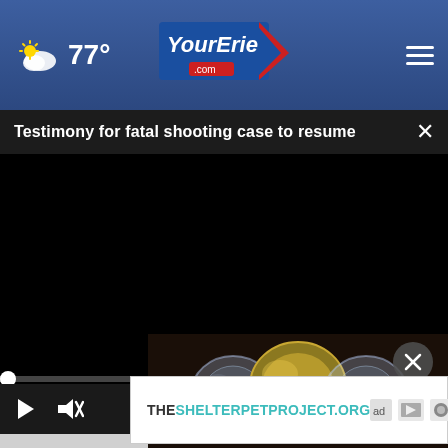77°  YourErie.com
Testimony for fatal shooting case to resume
[Figure (screenshot): Black video player area with play controls at bottom (play button, mute, timestamp 00:00, captions, fullscreen)]
[Figure (photo): Sports-related preview image showing helmets/players on dark background]
[Figure (other): Advertisement banner: THESHELTERPETPROJECT.ORG with ad choice logos]